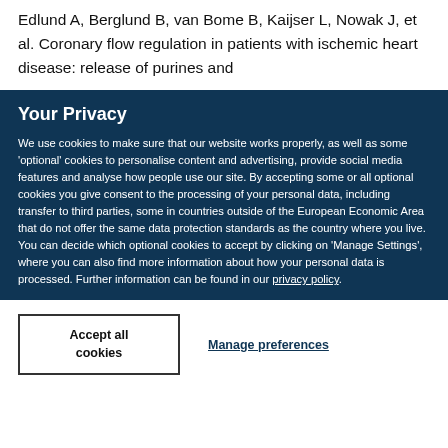Edlund A, Berglund B, van Bome B, Kaijser L, Nowak J, et al. Coronary flow regulation in patients with ischemic heart disease: release of purines and
Your Privacy
We use cookies to make sure that our website works properly, as well as some 'optional' cookies to personalise content and advertising, provide social media features and analyse how people use our site. By accepting some or all optional cookies you give consent to the processing of your personal data, including transfer to third parties, some in countries outside of the European Economic Area that do not offer the same data protection standards as the country where you live. You can decide which optional cookies to accept by clicking on 'Manage Settings', where you can also find more information about how your personal data is processed. Further information can be found in our privacy policy.
Accept all cookies
Manage preferences